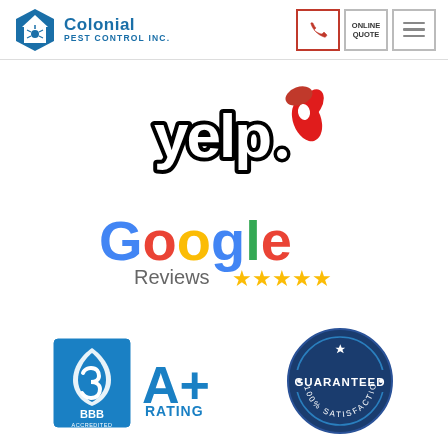Colonial Pest Control Inc. | Phone | Online Quote | Menu
[Figure (logo): Yelp logo with red burst graphic]
[Figure (logo): Google Reviews logo with 5 gold stars]
[Figure (logo): BBB Accredited Business A+ Rating logo]
[Figure (logo): 100% Satisfaction Guaranteed stamp/badge]